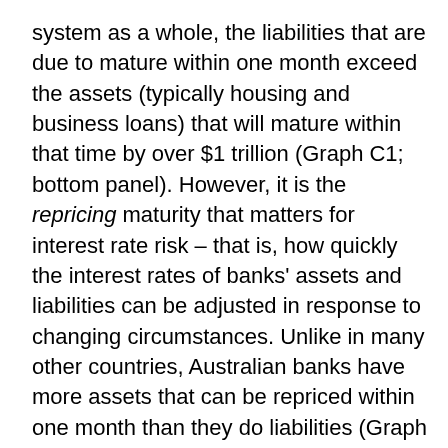system as a whole, the liabilities that are due to mature within one month exceed the assets (typically housing and business loans) that will mature within that time by over $1 trillion (Graph C1; bottom panel). However, it is the repricing maturity that matters for interest rate risk – that is, how quickly the interest rates of banks' assets and liabilities can be adjusted in response to changing circumstances. Unlike in many other countries, Australian banks have more assets that can be repriced within one month than they do liabilities (Graph C1; top panel). This is primarily because around 80 per cent of Australian housing loans are priced using a variable interest rate that can move with short-term interest rates, and most Australian business loans are priced at a fixed premium to the 3-month bank bill swap rate. This is different from the structure in most other advanced countries, where, in particular, a large share of their housing loan interest rates is fixed